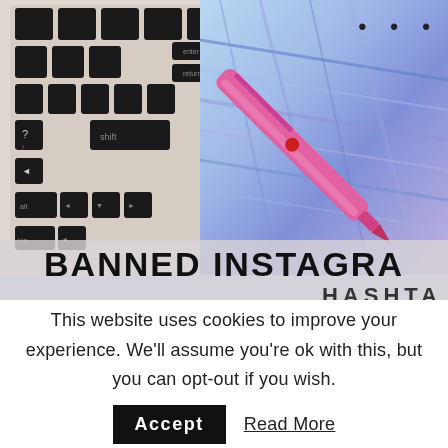[Figure (photo): A laptop keyboard on the left side and a pink pen lying on a blue/purple marble surface on the right. Text overlay at bottom reads 'BANNED INSTAGRA' and partial 'HASHTA' below.]
This website uses cookies to improve your experience. We'll assume you're ok with this, but you can opt-out if you wish. Accept Read More